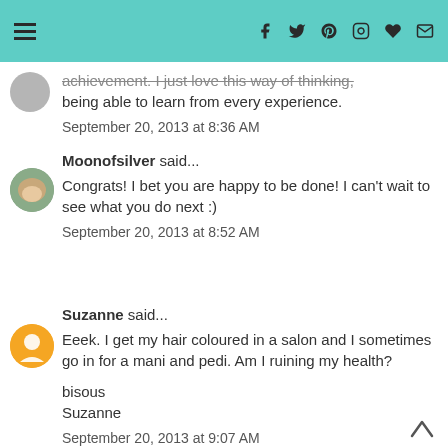Navigation bar with hamburger menu and social icons
achievement. I just love this way of thinking, being able to learn from every experience.
September 20, 2013 at 8:36 AM
Moonofsilver said...
Congrats! I bet you are happy to be done! I can't wait to see what you do next :)
September 20, 2013 at 8:52 AM
Suzanne said...
Eeek. I get my hair coloured in a salon and I sometimes go in for a mani and pedi. Am I ruining my health?

bisous
Suzanne
September 20, 2013 at 9:07 AM